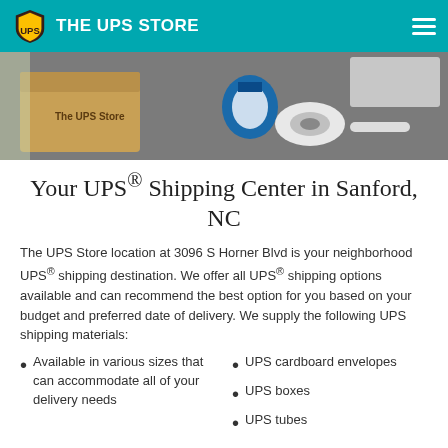THE UPS STORE
[Figure (photo): Photo of UPS Store shipping materials including a cardboard box labeled 'The UPS Store', a blue tape dispenser, a roll of tape, and a pen/marker on a gray surface]
Your UPS® Shipping Center in Sanford, NC
The UPS Store location at 3096 S Horner Blvd is your neighborhood UPS® shipping destination. We offer all UPS® shipping options available and can recommend the best option for you based on your budget and preferred date of delivery. We supply the following UPS shipping materials:
Available in various sizes that can accommodate all of your delivery needs
UPS cardboard envelopes
UPS boxes
UPS tubes